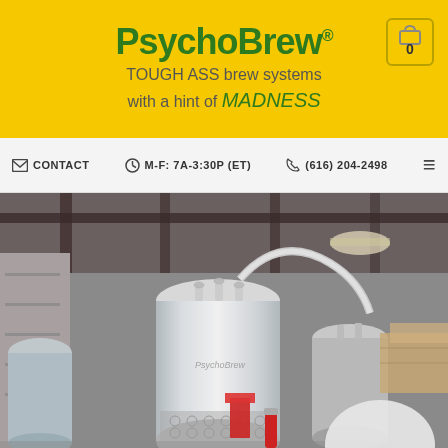PsychoBrew® - TOUGH ASS brew systems with a hint of MADNESS
CONTACT   M-F: 7A-3:30P (ET)   (616) 204-2498
[Figure (photo): Stainless steel homebrew/commercial brewing system with multiple vessels and tubes in an industrial warehouse setting, branded PsychoBrew]